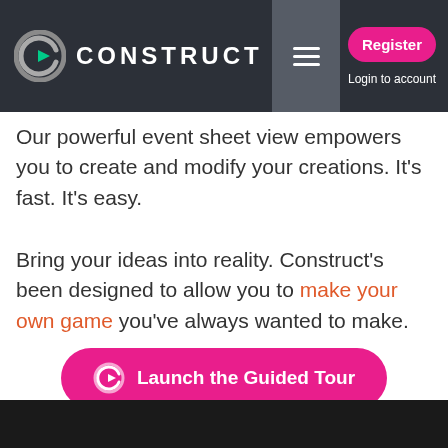CONSTRUCT | Register | Login to account
Our powerful event sheet view empowers you to create and modify your creations. It's fast. It's easy.
Bring your ideas into reality. Construct's been designed to allow you to make your own game you've always wanted to make.
[Figure (other): Pink rounded button with Construct logo icon and text 'Launch the Guided Tour']
[Figure (screenshot): Dark/black preview area at bottom of page]